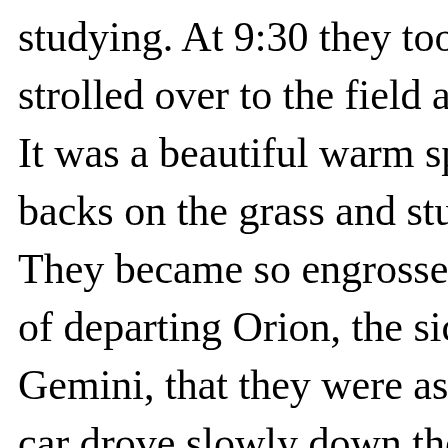studying. At 9:30 they took the power strolled over to the field across the roa It was a beautiful warm spring night, a backs on the grass and studied the star They became so engrossed in identify of departing Orion, the sickle of Leo, a Gemini, that they were astonished to s car drove slowly down the road and jo